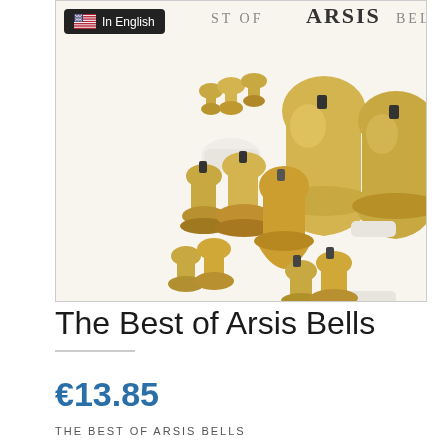[Figure (photo): Album cover for 'The Best of Arsis Bells' showing multiple gold/brass handbells of various sizes arranged together, with gloved hands holding some of them. Text at top reads 'Best of ARSIS Bells'. A badge overlay in top-left corner shows a US flag icon and 'In English'.]
The Best of Arsis Bells
€13.85
THE BEST OF ARSIS BELLS